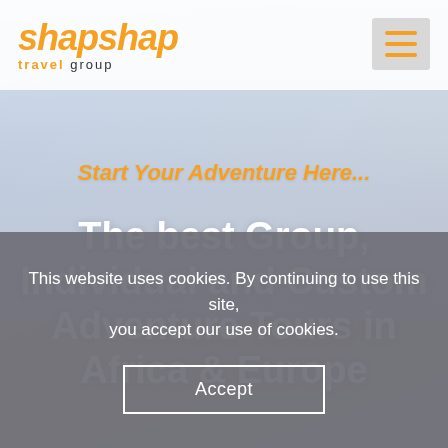[Figure (screenshot): Hero background with sky and clouds, gradient from blue-grey to warm tones]
shapshap travel group — navigation bar with hamburger menu
Start Your Adventure Here...
The best Group, Individual and Custom Adventure Tours in Africa & Europe
This website uses cookies. By continuing to use this site, you accept our use of cookies.
Accept